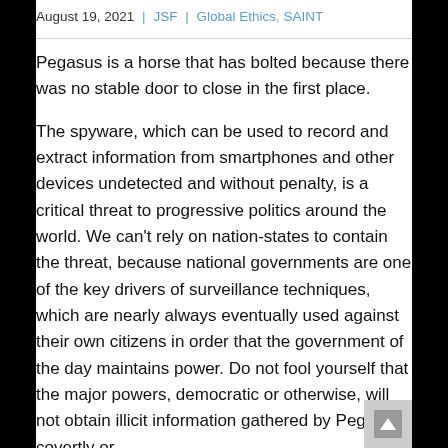August 19, 2021 | JSF | Global Ethics, SAINT
Pegasus is a horse that has bolted because there was no stable door to close in the first place.
The spyware, which can be used to record and extract information from smartphones and other devices undetected and without penalty, is a critical threat to progressive politics around the world. We can't rely on nation-states to contain the threat, because national governments are one of the key drivers of surveillance techniques, which are nearly always eventually used against their own citizens in order that the government of the day maintains power. Do not fool yourself that the major powers, democratic or otherwise, will not obtain illicit information gathered by Pegasus, covertly or